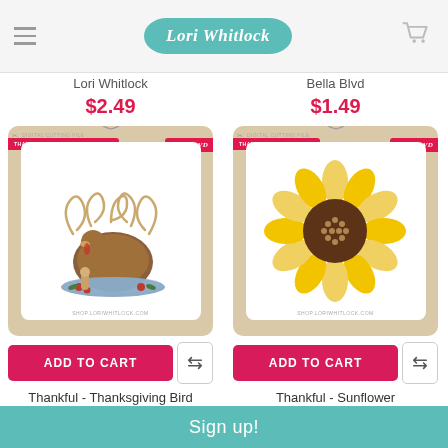Lori Whitlock
Lori Whitlock
$2.49
Bella Blvd
$1.49
[Figure (photo): Digital cutting file product card showing a Thanksgiving turkey on a platter with decorative swirls, Bella Blvd branding, on a tan card background. Text: THANKFUL - THANKSGIVING BIRD, shop.loriwhitlock.com]
[Figure (photo): Digital cutting file product card showing a yellow sunflower with brown center on a white card inside tan card background. Bella Blvd branding. Text: THANKFUL - SUNFLOWER, shop.loriwhitlock.com]
ADD TO CART
ADD TO CART
Thankful - Thanksgiving Bird
Thankful - Sunflower
Sign up!